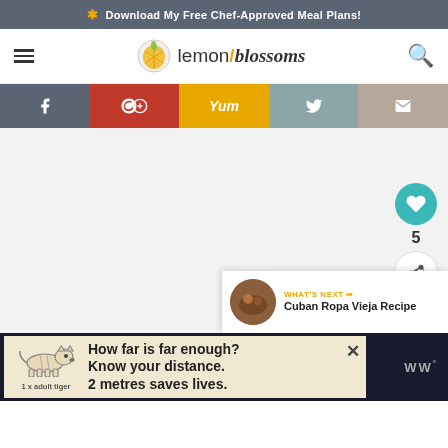* Download My Free Chef-Approved Meal Plans!
[Figure (logo): Lemon Blossoms website logo with lemon icon and hamburger menu and search icon]
[Figure (infographic): Social sharing bar with Facebook, Pinterest, Yummly, Twitter, and Email buttons]
[Figure (other): Main content area placeholder (light gray), with a teal heart/like button showing count 5, a share button, and a 'What's Next' card for Cuban Ropa Vieja Recipe]
[Figure (infographic): Advertisement banner: tiger illustration with text 'How far is far enough? Know your distance. 2 metres saves lives. 1 x adult tiger']